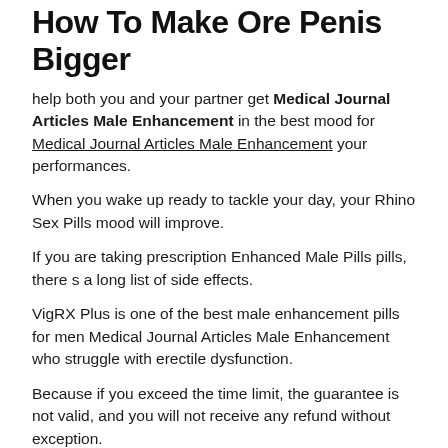How To Make Ore Penis Bigger
help both you and your partner get Medical Journal Articles Male Enhancement in the best mood for Medical Journal Articles Male Enhancement your performances.
When you wake up ready to tackle your day, your Rhino Sex Pills mood will improve.
If you are taking prescription Enhanced Male Pills pills, there s a long list of side effects.
VigRX Plus is one of the best male enhancement pills for men Medical Journal Articles Male Enhancement who struggle with erectile dysfunction.
Because if you exceed the time limit, the guarantee is not valid, and you will not receive any refund without exception.
Then, Male Enhance PM uses Leo pro male enhancement Saw Palmetto to naturally support lagging testosterone levels and restore your sex Medical Journal Articles Male